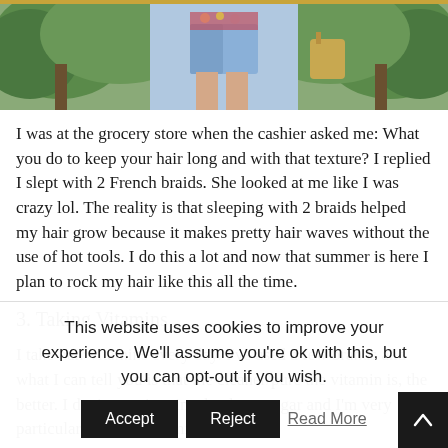[Figure (photo): Outdoor photo showing person's lower body in denim shorts with trees in background, top portion visible]
I was at the grocery store when the cashier asked me: What you do to keep your hair long and with that texture? I replied I slept with 2 French braids. She looked at me like I was crazy lol. The reality is that sleeping with 2 braids helped my hair grow because it makes pretty hair waves without the use of hot tools. I do this a lot and now that summer is here I plan to rock my hair like this all the time.
3. Taking Vitamins
I take hair vitamins every day. I've used a few brands and what I can tell you is that the cleaner/pure the vitamin is, the better. I don't use vitamins that have sugar and I'm very particular with my vitamins so
This website uses cookies to improve your experience. We'll assume you're ok with this, but you can opt-out if you wish.
Accept   Reject   Read More